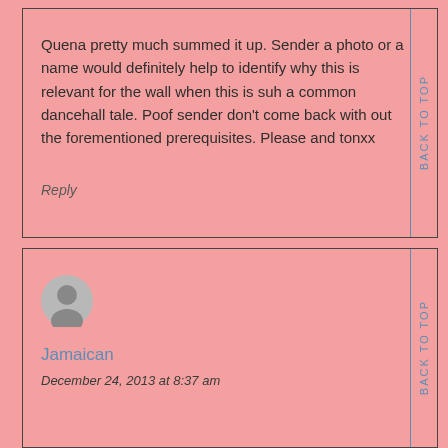Quena pretty much summed it up. Sender a photo or a name would definitely help to identify why this is relevant for the wall when this is suh a common dancehall tale. Poof sender don't come back with out the forementioned prerequisites. Please and tonxx
Reply
[Figure (illustration): User avatar - grey silhouette of a person on a light grey circle background]
Jamaican
December 24, 2013 at 8:37 am